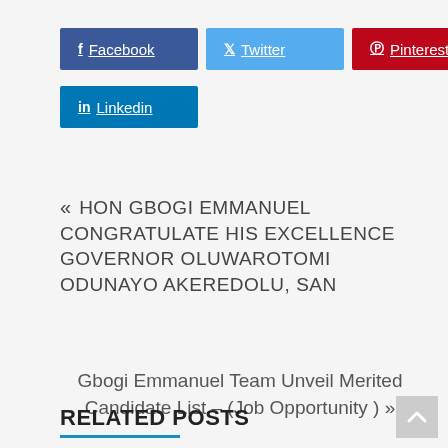[Figure (other): Social media share buttons: Facebook (dark blue), Twitter (light blue), Pinterest (red), Linkedin (blue)]
« HON GBOGI EMMANUEL CONGRATULATE HIS EXCELLENCE GOVERNOR OLUWAROTOMI ODUNAYO AKEREDOLU, SAN
Gbogi Emmanuel Team Unveil Merited Candidate List – (Job Opportunity ) »
RELATED POSTS